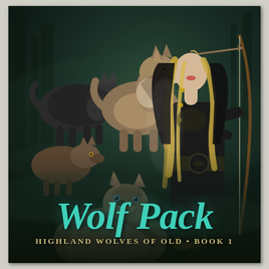[Figure (illustration): Book cover image showing a blonde female archer in dark fantasy leather armor holding a bow, surrounded by four wolves (grey and brown) in a misty forest setting with dark green and teal tones.]
Wolf Pack
Highland Wolves of Old • Book 1